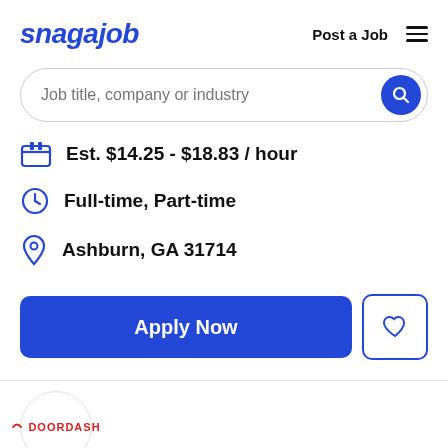[Figure (logo): Snagajob logo in blue italic bold text, with 'Post a Job' text and hamburger menu icon in top right]
[Figure (screenshot): Search bar with placeholder text 'Job title, company or industry' and blue circular search button]
Est. $14.25 - $18.83 / hour
Full-time, Part-time
Ashburn, GA 31714
[Figure (other): Apply Now blue button and heart/save icon button]
[Figure (logo): DoorDash logo inside a circle at bottom left]